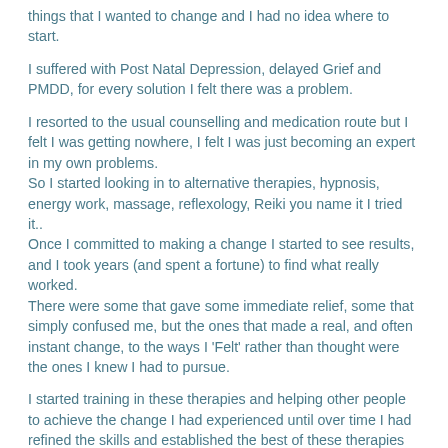things that I wanted to change and I had no idea where to start.
I suffered with Post Natal Depression, delayed Grief and PMDD, for every solution I felt there was a problem.
I resorted to the usual counselling and medication route but I felt I was getting nowhere, I felt I was just becoming an expert in my own problems. So I started looking in to alternative therapies, hypnosis, energy work, massage, reflexology, Reiki you name it I tried it.. Once I committed to making a change I started to see results, and I took years (and spent a fortune) to find what really worked. There were some that gave some immediate relief, some that simply confused me, but the ones that made a real, and often instant change, to the ways I 'Felt' rather than thought were the ones I knew I had to pursue.
I started training in these therapies and helping other people to achieve the change I had experienced until over time I had refined the skills and established the best of these therapies which I now offer to my clients so they do not have to take quite so long or spend anywhere near what I have spent to make the change they desire.
I have been trained to the highest standards with some of the best therapists in the World, using